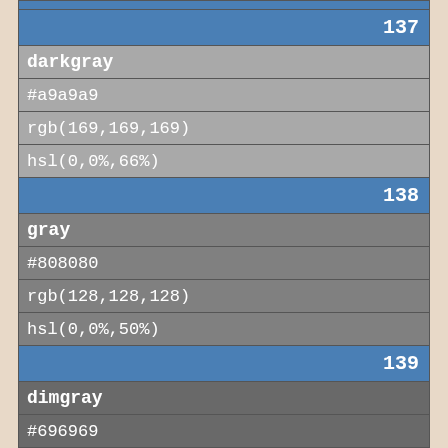| 137 |
| darkgray |
| #a9a9a9 |
| rgb(169,169,169) |
| hsl(0,0%,66%) |
| 138 |
| gray |
| #808080 |
| rgb(128,128,128) |
| hsl(0,0%,50%) |
| 139 |
| dimgray |
| #696969 |
| rgb(105,105,105) |
| hsl(0,0%,41%) |